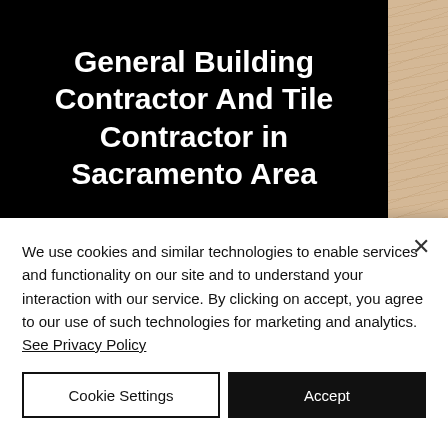General Building Contractor And Tile Contractor in Sacramento Area
[Figure (photo): Interior kitchen photo showing wooden cabinets under construction in a Sacramento area home]
We use cookies and similar technologies to enable services and functionality on our site and to understand your interaction with our service. By clicking on accept, you agree to our use of such technologies for marketing and analytics. See Privacy Policy